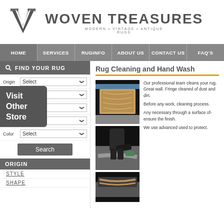[Figure (logo): Woven Treasures logo with stylized VW monogram and tagline 'MODERN • VINTAGE • ANTIQUE RUGS']
WOVEN TREASURES
HOME | SERVICES | RUGINFO | ABOUT US | CONTACT US | FAQ'S
FIND YOUR RUG
Rug Cleaning and Hand Wash
[Figure (photo): Photo of a rug being cleaned against a wall]
Our profes... your rug. G... wall. Fring... dust and d...
[Figure (photo): Photo of a person scrubbing a rug on the ground]
Before any... cleaning pr...
Any neces... through a... surface of... ensure the...
[Figure (photo): Photo of another rug cleaning step]
We use ad... used to pr...
ORIGIN
STYLE
SHAPE